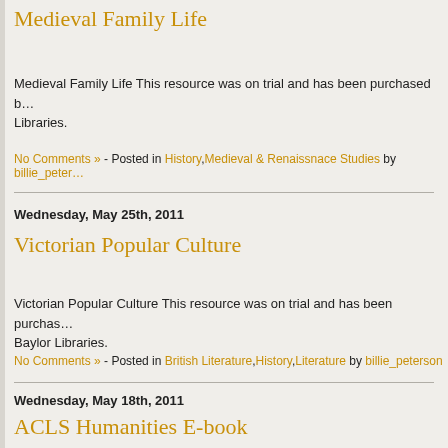Medieval Family Life
Medieval Family Life This resource was on trial and has been purchased by Baylor Libraries.
No Comments » - Posted in History,Medieval & Renaissnace Studies by billie_peter…
Wednesday, May 25th, 2011
Victorian Popular Culture
Victorian Popular Culture This resource was on trial and has been purchased by Baylor Libraries.
No Comments » - Posted in British Literature,History,Literature by billie_peterson
Wednesday, May 18th, 2011
ACLS Humanities E-book
ACLS Humanities E-book Provided by the American Council of Learned So… Humanities E-Book (HEB) is a collaboration among 20 learned societies, o…